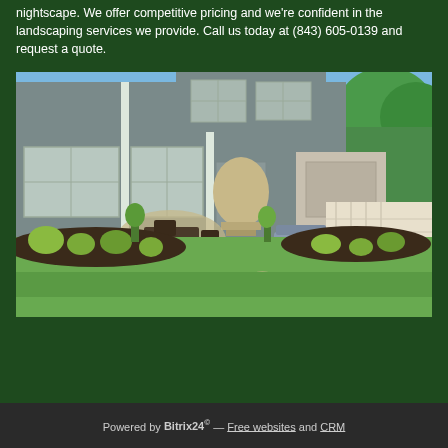nightscape. We offer competitive pricing and we're confident in the landscaping services we provide. Call us today at (843) 605-0139 and request a quote.
[Figure (photo): Exterior photo of a large gray two-story house with a patio area featuring outdoor furniture, landscaped garden beds with shrubs and plants, a stone stepping-stone path across a green lawn, and trees in the background.]
Powered by Bitrix24© — Free websites and CRM